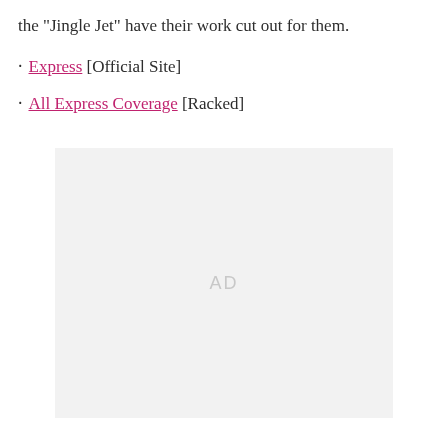the "Jingle Jet" have their work cut out for them.
· Express [Official Site]
· All Express Coverage [Racked]
[Figure (other): Advertisement placeholder box with 'AD' label in light gray]